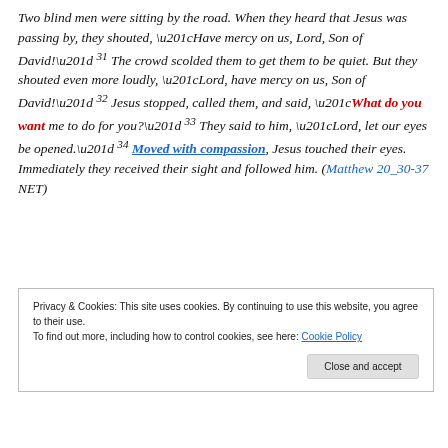Two blind men were sitting by the road. When they heard that Jesus was passing by, they shouted, “Have mercy on us, Lord, Son of David!” 31 The crowd scolded them to get them to be quiet. But they shouted even more loudly, “Lord, have mercy on us, Son of David!” 32 Jesus stopped, called them, and said, “What do you want me to do for you?” 33 They said to him, “Lord, let our eyes be opened.” 34 Moved with compassion, Jesus touched their eyes. Immediately they received their sight and followed him. (Matthew 20_30-37 NET)
Privacy & Cookies: This site uses cookies. By continuing to use this website, you agree to their use. To find out more, including how to control cookies, see here: Cookie Policy